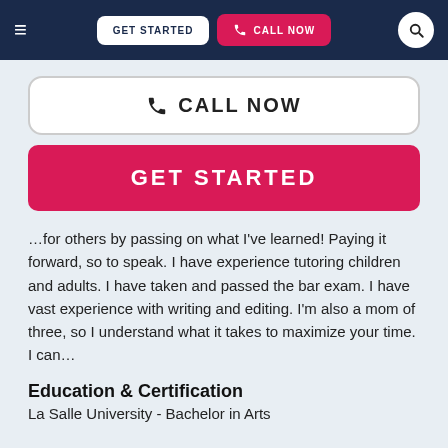≡  GET STARTED  📞 CALL NOW  🔍
[Figure (screenshot): Large white rounded-border button with phone icon and text 'CALL NOW' in dark uppercase letters]
[Figure (screenshot): Large pink/red rounded button with text 'GET STARTED' in white uppercase letters]
…for others by passing on what I've learned! Paying it forward, so to speak. I have experience tutoring children and adults. I have taken and passed the bar exam. I have vast experience with writing and editing. I'm also a mom of three, so I understand what it takes to maximize your time. I can…
Education & Certification
La Salle University - Bachelor in Arts